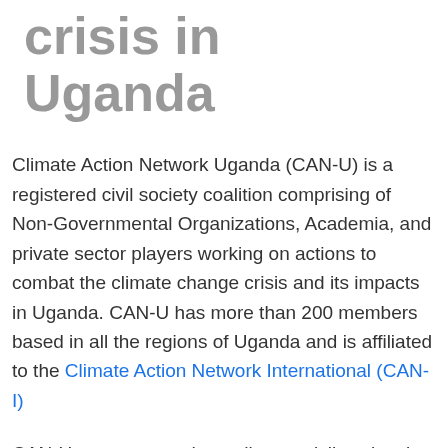crisis in Uganda
Climate Action Network Uganda (CAN-U) is a registered civil society coalition comprising of Non-Governmental Organizations, Academia, and private sector players working on actions to combat the climate change crisis and its impacts in Uganda. CAN-U has more than 200 members based in all the regions of Uganda and is affiliated to the Climate Action Network International (CAN-I)
CAN-U convenes and coordinates civil society in Uganda to rally around the development and implementation of effective climate change policy and practices at global, national and local levels.